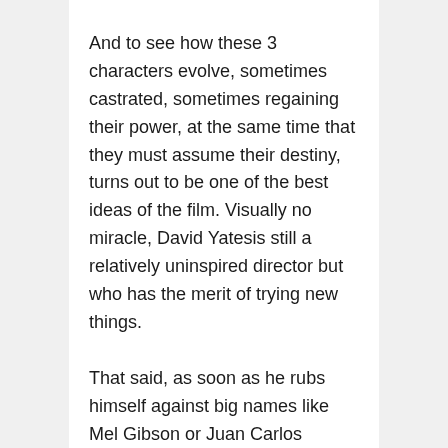And to see how these 3 characters evolve, sometimes castrated, sometimes regaining their power, at the same time that they must assume their destiny, turns out to be one of the best ideas of the film. Visually no miracle, David Yatesis still a relatively uninspired director but who has the merit of trying new things.
That said, as soon as he rubs himself against big names like Mel Gibson or Juan Carlos Fresnadillo in sequences of races through the woods, the comparison hurts the English enough which turns out to be only a simple maker and not an image artist.